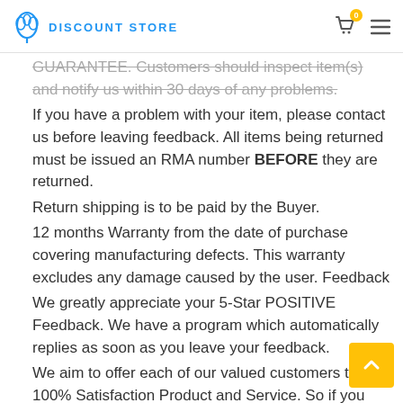DISCOUNT STORE
GUARANTEE. Customers should inspect item(s) and notify us within 30 days of any problems. If you have a problem with your item, please contact us before leaving feedback. All items being returned must be issued an RMA number BEFORE they are returned. Return shipping is to be paid by the Buyer. 12 months Warranty from the date of purchase covering manufacturing defects. This warranty excludes any damage caused by the user. Feedback We greatly appreciate your 5-Star POSITIVE Feedback. We have a program which automatically replies as soon as you leave your feedback. We aim to offer each of our valued customers the 100% Satisfaction Product and Service. So if you